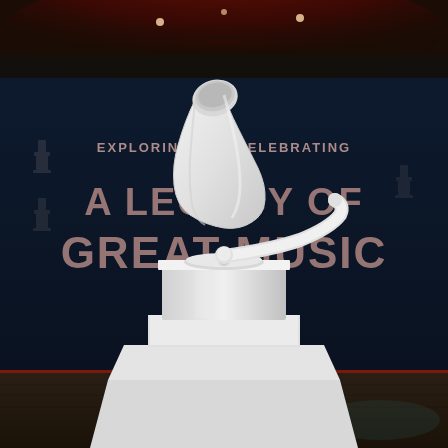[Figure (photo): A large white Grammy gramophone trophy statue displayed in front of a dark navy blue backdrop wall. The backdrop features text reading 'EXPLORING AND CELEBRATING A LEGACY OF GREAT MUSIC' in large pink/rose-gold letters. The ceiling above has red accent lighting. The floor is dark wood. The gramophone statue is matte white and sits on a stepped white pedestal.]